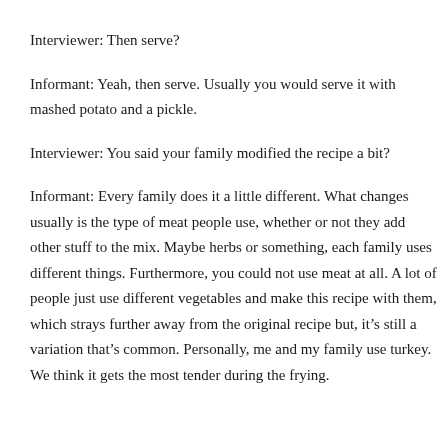Interviewer: Then serve?
Informant: Yeah, then serve. Usually you would serve it with mashed potato and a pickle.
Interviewer: You said your family modified the recipe a bit?
Informant: Every family does it a little different. What changes usually is the type of meat people use, whether or not they add other stuff to the mix. Maybe herbs or something, each family uses different things. Furthermore, you could not use meat at all. A lot of people just use different vegetables and make this recipe with them, which strays further away from the original recipe but, it’s still a variation that’s common. Personally, me and my family use turkey. We think it gets the most tender during the frying.